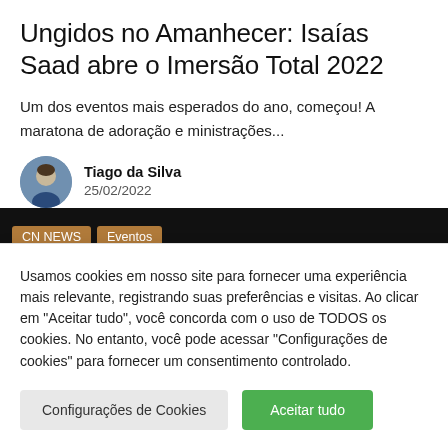Ungidos no Amanhecer: Isaías Saad abre o Imersão Total 2022
Um dos eventos mais esperados do ano, começou! A maratona de adoração e ministrações...
Tiago da Silva
25/02/2022
[Figure (photo): Dark banner with category tags 'CN NEWS' and 'Eventos' and a partial event image in background]
Usamos cookies em nosso site para fornecer uma experiência mais relevante, registrando suas preferências e visitas. Ao clicar em "Aceitar tudo", você concorda com o uso de TODOS os cookies. No entanto, você pode acessar "Configurações de cookies" para fornecer um consentimento controlado.